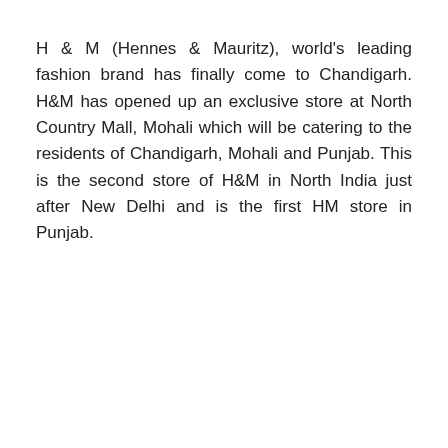H & M (Hennes & Mauritz), world's leading fashion brand has finally come to Chandigarh. H&M has opened up an exclusive store at North Country Mall, Mohali which will be catering to the residents of Chandigarh, Mohali and Punjab. This is the second store of H&M in North India just after New Delhi and is the first HM store in Punjab.